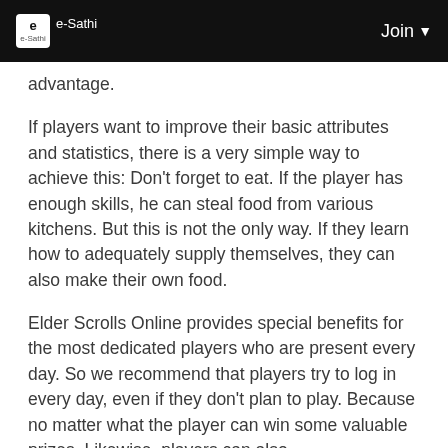e-Sathi | Join
advantage.
If players want to improve their basic attributes and statistics, there is a very simple way to achieve this: Don't forget to eat. If the player has enough skills, he can steal food from various kitchens. But this is not the only way. If they learn how to adequately supply themselves, they can also make their own food.
Elder Scrolls Online provides special benefits for the most dedicated players who are present every day. So we recommend that players try to log in every day, even if they don't plan to play. Because no matter what the player can win some valuable prizes. Likewise, players can also